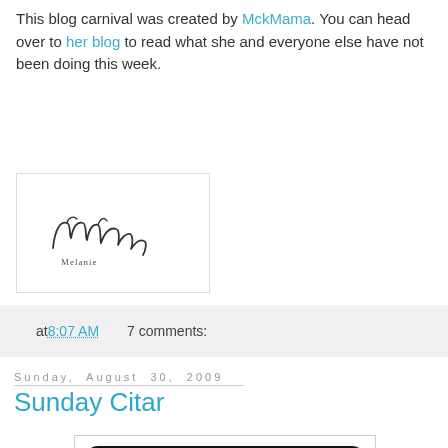This blog carnival was created by MckMama. You can head over to her blog to read what she and everyone else have not been doing this week.
[Figure (illustration): Cursive signature reading 'Melanie' in a bordered box]
at 8:07 AM   7 comments:
Sunday, August 30, 2009
Sunday Citar
[Figure (logo): Sunday Citar logo — black rounded rectangle with green quotation marks and white text reading 'sunday citar' with 'freshmommyblog.com' at bottom]
"If we could see the miracle of a single flower clearly, our